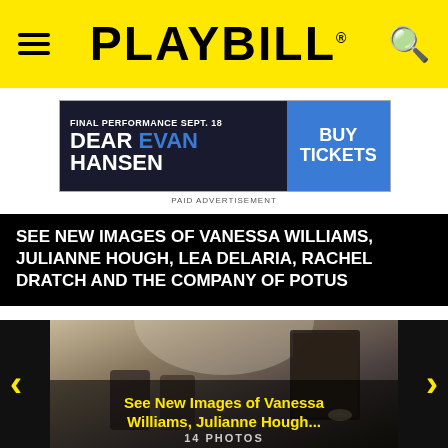PLAYBILL
[Figure (screenshot): Dear Evan Hansen advertisement banner: 'FINAL PERFORMANCE SEPT. 18 DEAR EVAN HANSEN BUY TICKETS']
PAID ADVERTISEMENT
SEE NEW IMAGES OF VANESSA WILLIAMS, JULIANNE HOUGH, LEA DELARIA, RACHEL DRATCH AND THE COMPANY OF POTUS
[Figure (photo): Photo gallery for POTUS show. Shows a dimly lit room with figures. Overlay text: 'See New Images of Vanessa Williams, Julianne Hough...' and '14 PHOTOS'. Navigation arrows on left and right.]